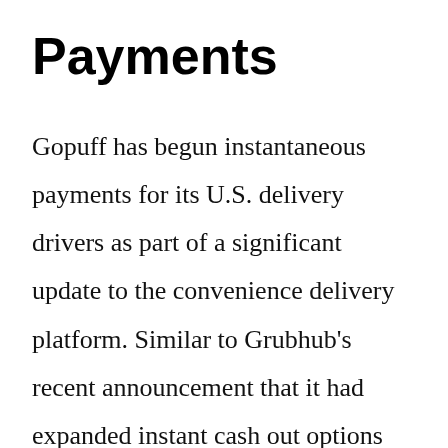Payments
Gopuff has begun instantaneous payments for its U.S. delivery drivers as part of a significant update to the convenience delivery platform. Similar to Grubhub's recent announcement that it had expanded instant cash out options for its delivery drivers, Gopuff has partnered with Stripe to give its U.S. delivery partners a similar option. To be eligible for instant …